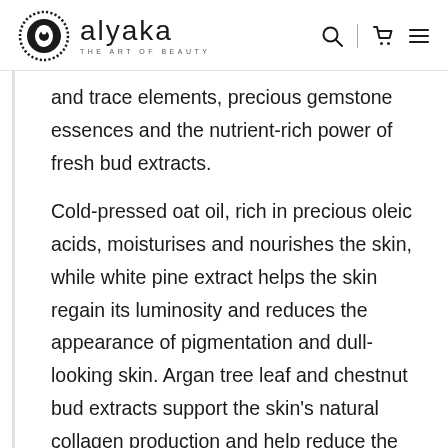alyaka THE ART OF BEAUTY
and trace elements, precious gemstone essences and the nutrient-rich power of fresh bud extracts.
Cold-pressed oat oil, rich in precious oleic acids, moisturises and nourishes the skin, while white pine extract helps the skin regain its luminosity and reduces the appearance of pigmentation and dull-looking skin. Argan tree leaf and chestnut bud extracts support the skin's natural collagen production and help reduce the look of